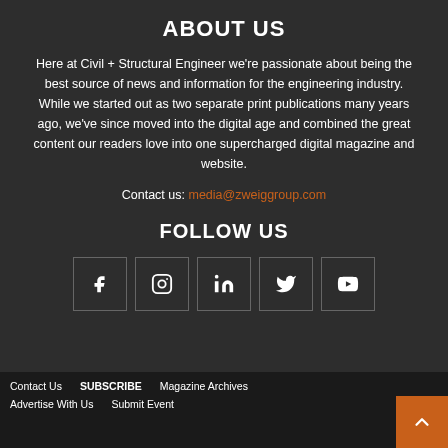ABOUT US
Here at Civil + Structural Engineer we're passionate about being the best source of news and information for the engineering industry. While we started out as two separate print publications many years ago, we've since moved into the digital age and combined the great content our readers love into one supercharged digital magazine and website.
Contact us: media@zweiggroup.com
FOLLOW US
[Figure (infographic): Five social media icon buttons in bordered squares: Facebook (f), Instagram (circle/square logo), LinkedIn (in), Twitter (bird), YouTube (play triangle)]
Contact Us   SUBSCRIBE   Magazine Archives   Advertise With Us   Submit Event